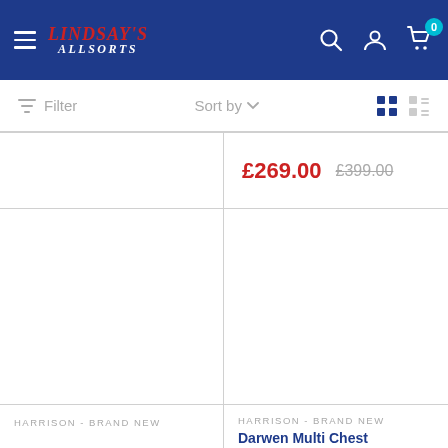Lindsay's Allsorts - header navigation
Filter  Sort by  [grid view icons]
£269.00  £399.00
HARRISON - BRAND NEW
Darwen Multi Chest
HARRISON - BRAND NEW